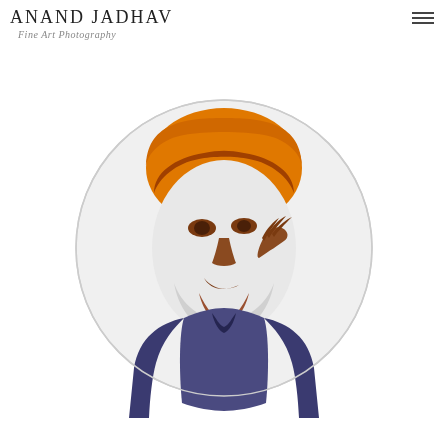ANAND JADHAV
Fine Art Photography
[Figure (illustration): Circular logo/portrait illustration of a person with stylized pop-art color treatment. The hair is rendered in orange/amber, facial features in brown tones, clothing in dark purple/indigo, all on a light grey/white background within a circle with a thin grey border.]